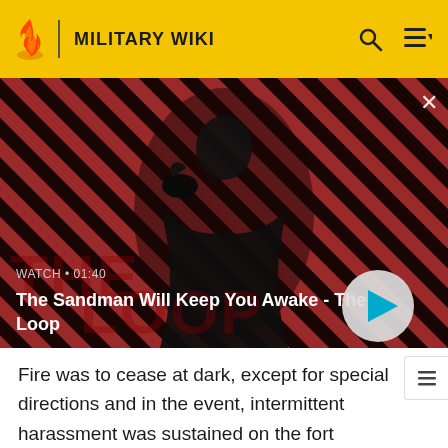MILITARY WIKI
[Figure (screenshot): Video thumbnail showing a dark-cloaked figure with a raven on shoulder against a red and black diagonal striped background. The Loop video title shown. Watch • 01:40]
The Sandman Will Keep You Awake - The Loop
Fire was to cease at dark, except for special directions and in the event, intermittent harassment was sustained on the fort overnight. A signal officer was stationed at Battery Scott to communicate the ranging of the mortar batteries Stanton, Grant and Sherman.[61]